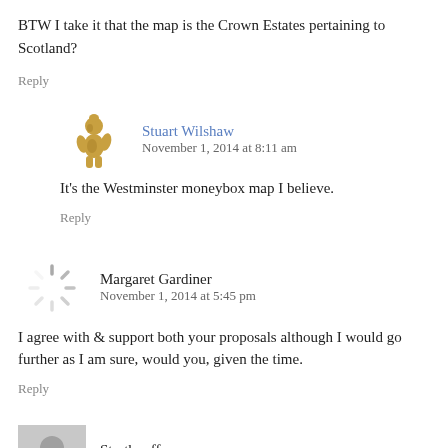BTW I take it that the map is the Crown Estates pertaining to Scotland?
Reply
Stuart Wilshaw
November 1, 2014 at 8:11 am
It's the Westminster moneybox map I believe.
Reply
Margaret Gardiner
November 1, 2014 at 5:45 pm
I agree with & support both your proposals although I would go further as I am sure, would you, given the time.
Reply
Strathpuffer
November 1, 2014 at 5:58 pm